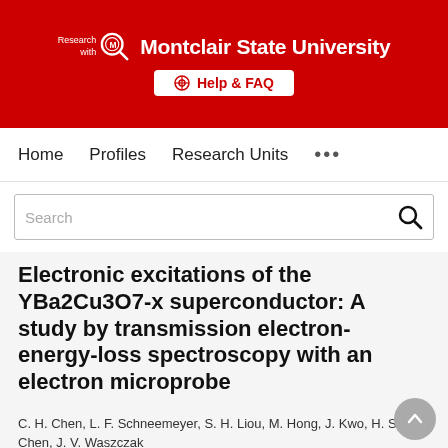Research with Montclair State University
Help & FAQ
Home   Profiles   Research Units   ...
Search
Electronic excitations of the YBa2Cu3O7-x superconductor: A study by transmission electron-energy-loss spectroscopy with an electron microprobe
C. H. Chen, L. F. Schneemeyer, S. H. Liou, M. Hong, J. Kwo, H. S. Chen, J. V. Waszczak